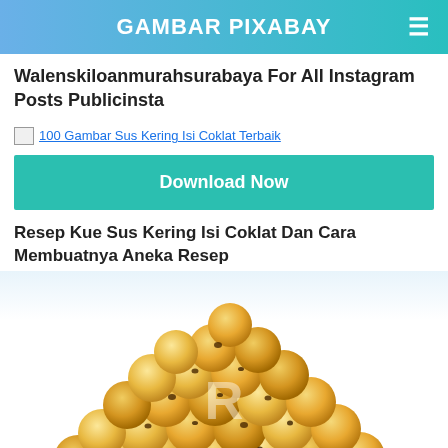GAMBAR PIXABAY
Walenskiloanmurahsurabaya For All Instagram Posts Publicinsta
[Figure (screenshot): Broken image placeholder with link text: 100 Gambar Sus Kering Isi Coklat Terbaik]
Download Now
Resep Kue Sus Kering Isi Coklat Dan Cara Membuatnya Aneka Resep
[Figure (photo): Photo of a pile of golden-brown sus kering (dry choux pastry) cookies with chocolate chips, with a watermark letter R in the center, on a white background.]